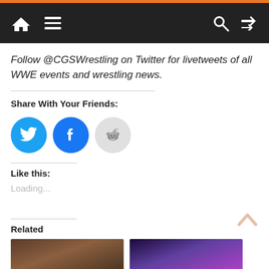Navigation bar with home, menu, search, and shuffle icons
Follow @CGSWrestling on Twitter for livetweets of all WWE events and wrestling news.
Share With Your Friends:
[Figure (infographic): Three social share buttons: Twitter (blue bird), Facebook (blue f), Reddit (light grey alien)]
Like this:
Loading...
Related
[Figure (photo): Two related article thumbnail images side by side at bottom of page]